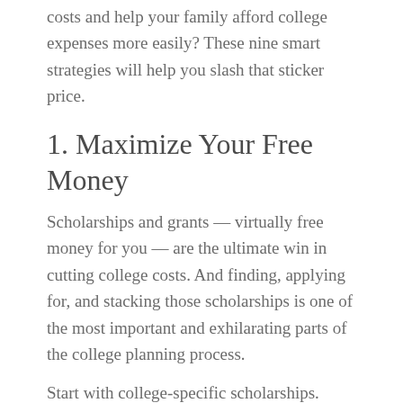costs and help your family afford college expenses more easily? These nine smart strategies will help you slash that sticker price.
1. Maximize Your Free Money
Scholarships and grants — virtually free money for you — are the ultimate win in cutting college costs. And finding, applying for, and stacking those scholarships is one of the most important and exhilarating parts of the college planning process.
Start with college-specific scholarships. Look at schools that offer scholarships that match well with your family's college-bound student — awards for academic achievement, sports prowess, musical ability, leadership skills, children